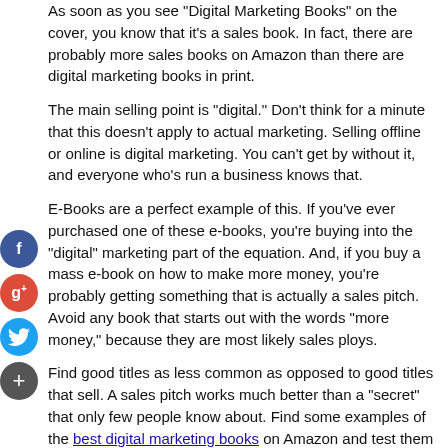As soon as you see "Digital Marketing Books" on the cover, you know that it's a sales book. In fact, there are probably more sales books on Amazon than there are digital marketing books in print.
The main selling point is "digital." Don't think for a minute that this doesn't apply to actual marketing. Selling offline or online is digital marketing. You can't get by without it, and everyone who's run a business knows that.
E-Books are a perfect example of this. If you've ever purchased one of these e-books, you're buying into the "digital" marketing part of the equation. And, if you buy a mass e-book on how to make more money, you're probably getting something that is actually a sales pitch. Avoid any book that starts out with the words "more money," because they are most likely sales ploys.
Find good titles as less common as opposed to good titles that sell. A sales pitch works much better than a "secret" that only few people know about. Find some examples of the best digital marketing books on Amazon and test them out, if possible.
Many of the publishers do indeed have the book title, but don't publish the cover design. You need a couple of seconds to notice the differences. If you have trouble seeing the difference, look at the